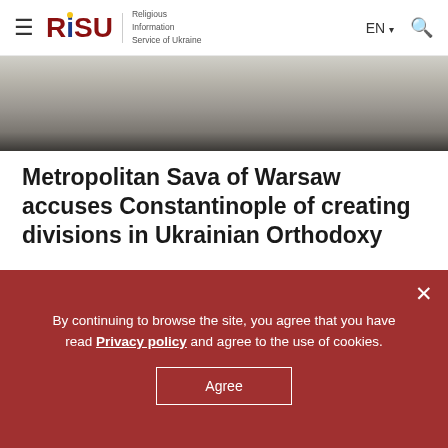RISU — Religious Information Service of Ukraine | EN | Search
[Figure (photo): Partial photo of an elderly religious figure, showing white hair and religious vestments, cropped close]
Metropolitan Sava of Warsaw accuses Constantinople of creating divisions in Ukrainian Orthodoxy
12 August, 22:50
By continuing to browse the site, you agree that you have read Privacy policy and agree to the use of cookies.
Agree